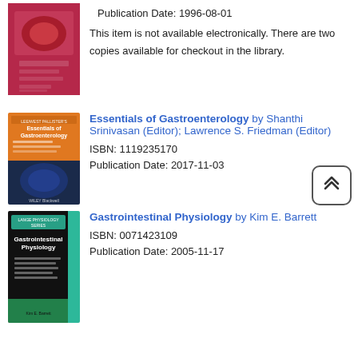[Figure (illustration): Book cover thumbnail - pink/red book cover (partially visible at top)]
Publication Date: 1996-08-01
This item is not available electronically. There are two copies available for checkout in the library.
[Figure (illustration): Book cover - Essentials of Gastroenterology, orange/blue cover with intestine image, Wiley Blackwell]
Essentials of Gastroenterology by Shanthi Srinivasan (Editor); Lawrence S. Friedman (Editor)
ISBN: 1119235170
Publication Date: 2017-11-03
[Figure (illustration): Book cover - Gastrointestinal Physiology, Lange series, black and teal cover]
Gastrointestinal Physiology by Kim E. Barrett
ISBN: 0071423109
Publication Date: 2005-11-17